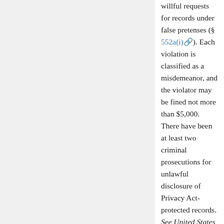willful requests for records under false pretenses (§ 552a(i)). Each violation is classified as a misdemeanor, and the violator may be fined not more than $5,000. There have been at least two criminal prosecutions for unlawful disclosure of Privacy Act-protected records. See United States v. Trabert, 978 F.